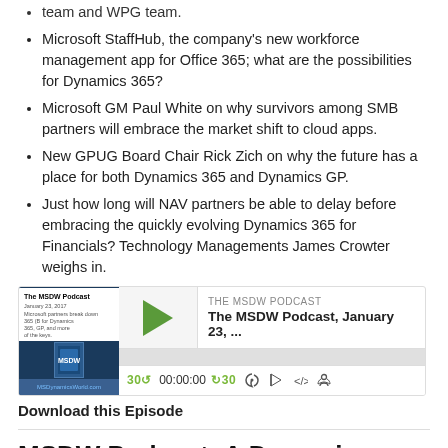team and WPG team.
Microsoft StaffHub, the company's new workforce management app for Office 365; what are the possibilities for Dynamics 365?
Microsoft GM Paul White on why survivors among SMB partners will embrace the market shift to cloud apps.
New GPUG Board Chair Rick Zich on why the future has a place for both Dynamics 365 and Dynamics GP.
Just how long will NAV partners be able to delay before embracing the quickly evolving Dynamics 365 for Financials? Technology Managements James Crowter weighs in.
[Figure (screenshot): Podcast player widget for 'The MSDW Podcast, January 23, ...' with thumbnail, play button, progress bar, and playback controls showing 30s skip, 00:00:00 timestamp, and icons.]
Download this Episode
MSDW Podcast: A Dynamics ERP customer...
Jan 14, 2017
"I am going to laugh when my kids complain that Dynamics 365 marketing dominates the home page and marketplace on their Xbox."